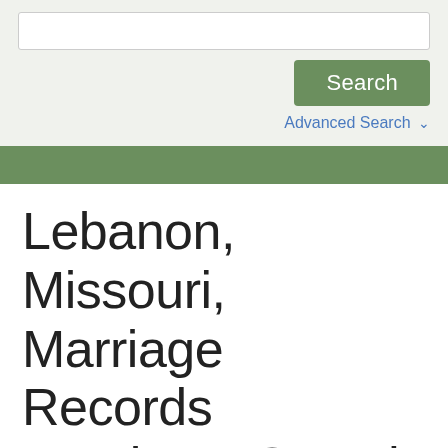[Figure (screenshot): Search input box with white background and border]
Search
Advanced Search ∨
Lebanon, Missouri, Marriage Records Database Search
Do you want to uncover a specific branch of your family tree? Lebanon, Missouri, marriage records are one of the best resources for finding out valuable